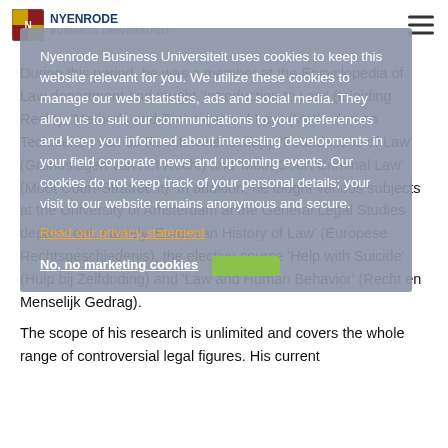NYENRODE Business Universiteit
Nyenrode Business Universiteit uses cookies to keep this website relevant for you. We utilize these cookies to manage our web statistics, ads and social media. They allow us to suit our communications to your preferences and keep you informed about interesting developments in your field corporate news and upcoming events. Our cookies do not keep track of your personal details; your visit to our website remains anonymous and secure.
Read our privacy statement
No, no marketing cookies
During this period, he was a member at the Encyclopedia of Law department and taught 'Introduction to Law' (Inleiding Recht), 'Methods and Techniques of Law' (Methoden en Technieken van de Rechtswetenschap), 'Foundations of Law' (Grondslagen van het Recht) and 'Moot Court Criminal Law' (Moot Court-Strafrecht). In addition, he taught various subjects at the University of Amsterdam at the General Legal Studies department, namely 'European History of Law' (Europese Rechtsgeschiedenis), the elective course 'Help with Suicide' (Hulp bij Zelfdoding) and 'Law and Human Behavior' (Recht en Menselijk Gedrag).
The scope of his research is unlimited and covers the whole range of controversial legal figures. His current